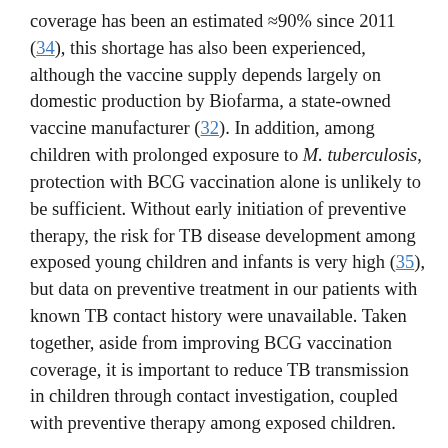coverage has been an estimated ≈90% since 2011 (34), this shortage has also been experienced, although the vaccine supply depends largely on domestic production by Biofarma, a state-owned vaccine manufacturer (32). In addition, among children with prolonged exposure to M. tuberculosis, protection with BCG vaccination alone is unlikely to be sufficient. Without early initiation of preventive therapy, the risk for TB disease development among exposed young children and infants is very high (35), but data on preventive treatment in our patients with known TB contact history were unavailable. Taken together, aside from improving BCG vaccination coverage, it is important to reduce TB transmission in children through contact investigation, coupled with preventive therapy among exposed children.

Neurologic sequelae occurred mostly in our patients